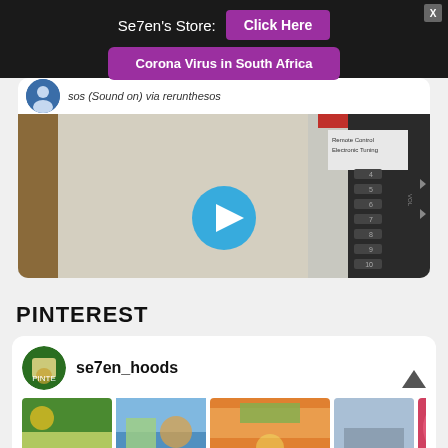Se7en's Store:  Click Here
Corona Virus in South Africa
sos (Sound on) via rerunthesos
[Figure (screenshot): Video thumbnail showing a TV with remote control and electronic tuning panel, with a blue play button overlay]
PINTEREST
se7en_hoods
[Figure (screenshot): Pinterest feed showing colorful artwork and craft images]